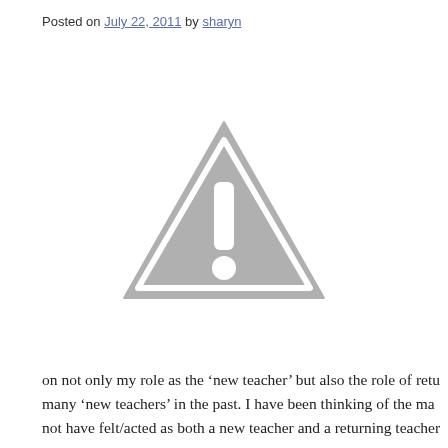Posted on July 22, 2011 by sharyn
[Figure (illustration): A grey warning/caution triangle icon with an exclamation mark, blurred, centered on the page.]
on not only my role as the ‘new teacher’ but also the role of retu... many ‘new teachers’ in the past. I have been thinking of the ma... not have felt/acted as both a new teacher and a returning teacher...